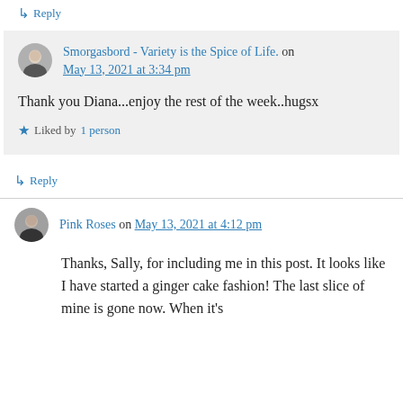↳ Reply
Smorgasbord - Variety is the Spice of Life. on May 13, 2021 at 3:34 pm
Thank you Diana...enjoy the rest of the week..hugsx
★ Liked by 1 person
↳ Reply
Pink Roses on May 13, 2021 at 4:12 pm
Thanks, Sally, for including me in this post. It looks like I have started a ginger cake fashion! The last slice of mine is gone now. When it's